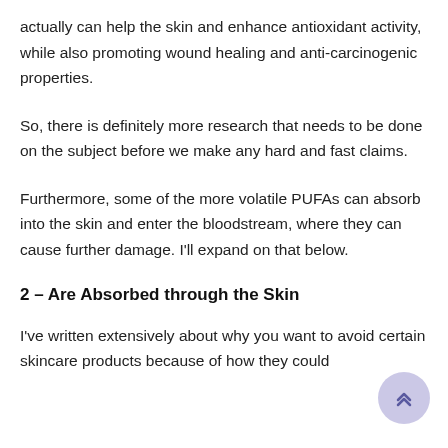actually can help the skin and enhance antioxidant activity, while also promoting wound healing and anti-carcinogenic properties.
So, there is definitely more research that needs to be done on the subject before we make any hard and fast claims.
Furthermore, some of the more volatile PUFAs can absorb into the skin and enter the bloodstream, where they can cause further damage. I'll expand on that below.
2 – Are Absorbed through the Skin
I've written extensively about why you want to avoid certain skincare products because of how they could